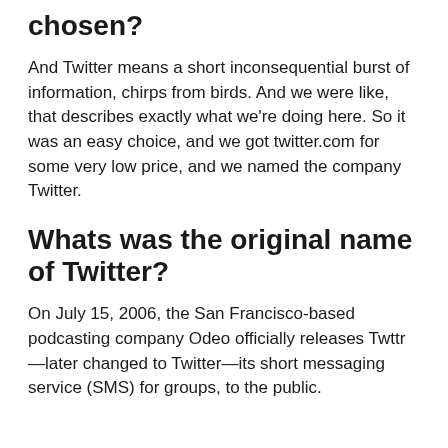chosen?
And Twitter means a short inconsequential burst of information, chirps from birds. And we were like, that describes exactly what we're doing here. So it was an easy choice, and we got twitter.com for some very low price, and we named the company Twitter.
Whats was the original name of Twitter?
On July 15, 2006, the San Francisco-based podcasting company Odeo officially releases Twttr—later changed to Twitter—its short messaging service (SMS) for groups, to the public.